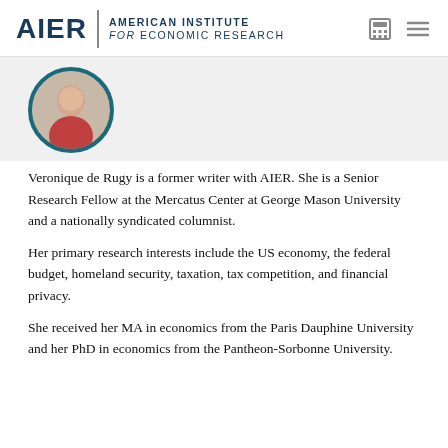AIER | AMERICAN INSTITUTE for ECONOMIC RESEARCH
[Figure (photo): Circular profile photo of Veronique de Rugy with teal border]
Veronique de Rugy is a former writer with AIER. She is a Senior Research Fellow at the Mercatus Center at George Mason University and a nationally syndicated columnist.
Her primary research interests include the US economy, the federal budget, homeland security, taxation, tax competition, and financial privacy.
She received her MA in economics from the Paris Dauphine University and her PhD in economics from the Pantheon-Sorbonne University.